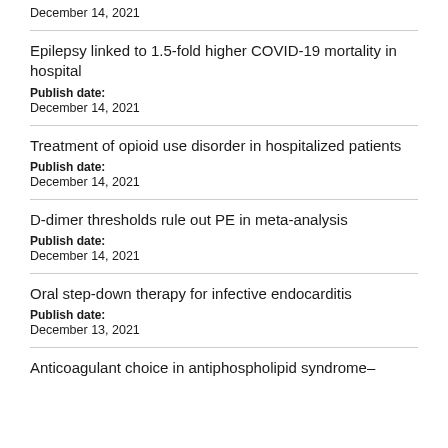December 14, 2021
Epilepsy linked to 1.5-fold higher COVID-19 mortality in hospital
Publish date:
December 14, 2021
Treatment of opioid use disorder in hospitalized patients
Publish date:
December 14, 2021
D-dimer thresholds rule out PE in meta-analysis
Publish date:
December 14, 2021
Oral step-down therapy for infective endocarditis
Publish date:
December 13, 2021
Anticoagulant choice in antiphospholipid syndrome–